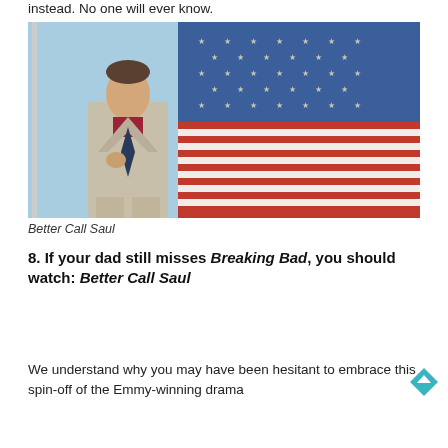instead. No one will ever know.
[Figure (photo): A man in a light tan suit with a red shirt and dark tie stands in front of a large American flag. The flag fills most of the background with its red, white, and blue colors and stars.]
Better Call Saul
8. If your dad still misses Breaking Bad, you should watch: Better Call Saul
We understand why you may have been hesitant to embrace this spin-off of the Emmy-winning drama